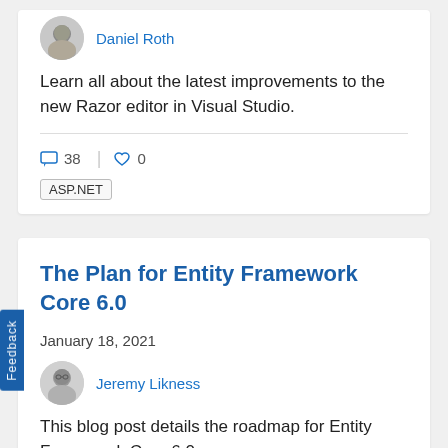Daniel Roth
Learn all about the latest improvements to the new Razor editor in Visual Studio.
38  0
ASP.NET
The Plan for Entity Framework Core 6.0
January 18, 2021
Jeremy Likness
This blog post details the roadmap for Entity Framework Core 6.0.